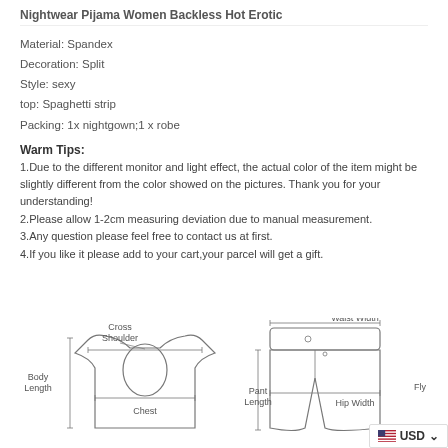Nightwear Pijama Women Backless Hot Erotic
Material: Spandex
Decoration: Split
Style: sexy
top: Spaghetti strip
Packing: 1x nightgown;1 x robe
Warm Tips:
1.Due to the different monitor and light effect, the actual color of the item might be slightly different from the color showed on the pictures. Thank you for your understanding!
2.Please allow 1-2cm measuring deviation due to manual measurement.
3.Any question please feel free to contact us at first.
4.If you like it please add to your cart,your parcel will get a gift.
[Figure (illustration): Clothing measurement diagram showing two garment outlines: left shows a top with 'Cross Shoulder', 'Body Length', and 'Chest' labels; right shows pants with 'Waist Width', 'Pant Length', 'Hip Width', and 'Fly' labels.]